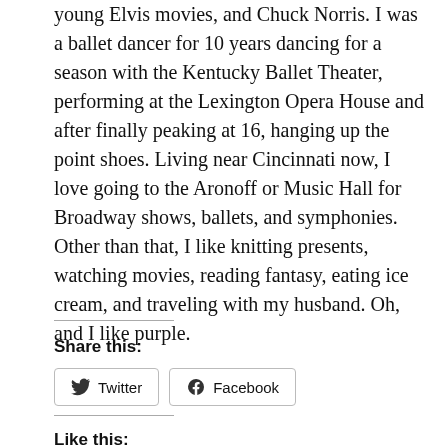young Elvis movies, and Chuck Norris. I was a ballet dancer for 10 years dancing for a season with the Kentucky Ballet Theater, performing at the Lexington Opera House and after finally peaking at 16, hanging up the point shoes. Living near Cincinnati now, I love going to the Aronoff or Music Hall for Broadway shows, ballets, and symphonies. Other than that, I like knitting presents, watching movies, reading fantasy, eating ice cream, and traveling with my husband. Oh, and I like purple.
Share this:
Twitter  Facebook
Like this: